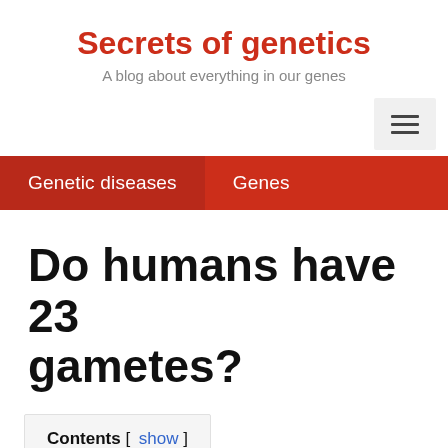Secrets of genetics
A blog about everything in our genes
[Figure (other): Hamburger menu button icon with three horizontal lines]
Genetic diseases   Genes
Do humans have 23 gametes?
Contents [ show ]